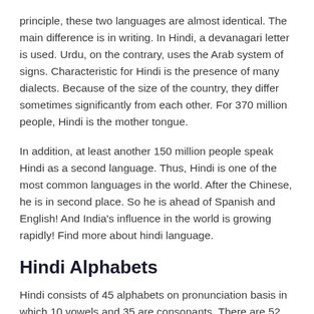principle, these two languages are almost identical. The main difference is in writing. In Hindi, a devanagari letter is used. Urdu, on the contrary, uses the Arab system of signs. Characteristic for Hindi is the presence of many dialects. Because of the size of the country, they differ sometimes significantly from each other. For 370 million people, Hindi is the mother tongue.
In addition, at least another 150 million people speak Hindi as a second language. Thus, Hindi is one of the most common languages in the world. After the Chinese, he is in second place. So he is ahead of Spanish and English! And India's influence in the world is growing rapidly! Find more about hindi language.
Hindi Alphabets
Hindi consists of 45 alphabets on pronunciation basis in which 10 vowels and 35 are consonants. There are 52 alphabets on writing basis in which 13 vowels and 39 consonants.